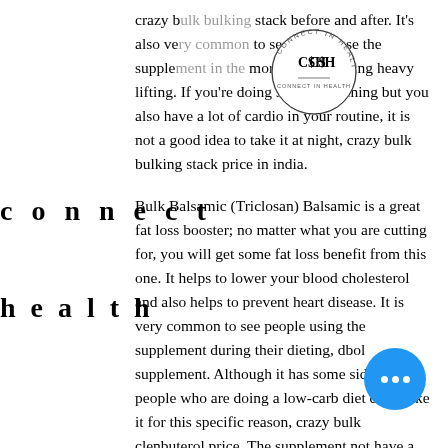[Figure (logo): Circle logo with letters C$H and text 'CONNECT IN HEALTH' around the border]
crazy bulk bulking stack before and after. It's also very common to see people use the supplement in the morning after doing heavy lifting. If you're doing strength training but you also have a lot of cardio in your routine, it is not a good idea to take it at night, crazy bulk bulking stack price in india.
connect
health
Bulk Balsamic (Triclosan) Balsamic is a great fat loss booster; no matter what you are cutting for, you will get some fat loss benefit from this one. It helps to lower your blood cholesterol and also helps to prevent heart disease. It is very common to see people using the supplement during their dieting, dbol supplement. Although it has some side effects, people who are doing a low-carb diet don't take it for this specific reason, crazy bulk clenbuterol price. The supplement not have a great success rate over the term, which is why many fat loss